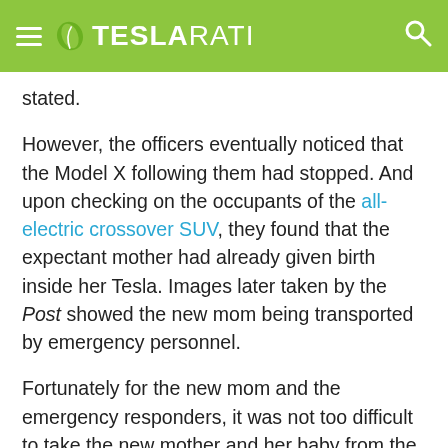TESLARATI
stated.
However, the officers eventually noticed that the Model X following them had stopped. And upon checking on the occupants of the all-electric crossover SUV, they found that the expectant mother had already given birth inside her Tesla. Images later taken by the Post showed the new mom being transported by emergency personnel.
Fortunately for the new mom and the emergency responders, it was not too difficult to take the new mother and her baby from the Model X to a gurney. This was partly due to the vehicle's Falcon Wing Doors, which provide ample space for easy egress. Tesla CEO Elon Musk noted during the Model X's unveiling that the Falcon Wing Doors are designed to make it easier to get into and out of the vehicle. That statement definitely rang true on Sunday